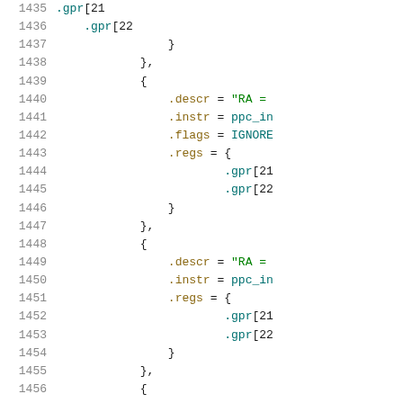Source code listing, lines 1435-1456, showing C struct initializer with .descr, .instr, .flags, .regs fields and .gpr array entries
1435: .gpr[21
1436:     .gpr[22
1437: }
1438: },
1439: {
1440:     .descr = "RA =
1441:     .instr = ppc_in
1442:     .flags = IGNORE
1443:     .regs = {
1444:         .gpr[21
1445:         .gpr[22
1446: }
1447: },
1448: {
1449:     .descr = "RA =
1450:     .instr = ppc_in
1451:     .regs = {
1452:         .gpr[21
1453:         .gpr[22
1454: }
1455: },
1456: {